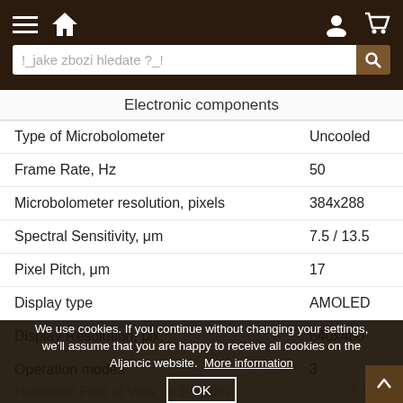Navigation bar with hamburger menu, home icon, user icon, cart icon, and search bar with placeholder '!_jake zbozi hledate ?_!'
| Property | Value |
| --- | --- |
| Electronic components |  |
| Type of Microbolometer | Uncooled |
| Frame Rate, Hz | 50 |
| Microbolometer resolution, pixels | 384x288 |
| Spectral Sensitivity, μm | 7.5 / 13.5 |
| Pixel Pitch, μm | 17 |
| Display type | AMOLED |
| Display Resolution, pix. | 640x480 |
| Operation modes | 3 |
| Optical characteristics |  |
| Magnification, x | 4.1 |
| Horizontal Field of View, m @ 100m | 3.1 |
We use cookies. If you continue without changing your settings, we'll assume that you are happy to receive all cookies on the Aljancic website. More information OK